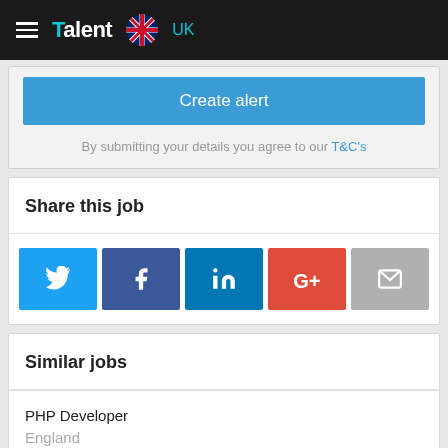Talent UK
Create alert
By submitting your details you agree to our T&C's
Share this job
[Figure (infographic): Social sharing buttons: Twitter (blue), Facebook (dark blue), LinkedIn (blue), Google+ (red/orange), Email (grey)]
Similar jobs
PHP Developer
England
£280 - £350 per day